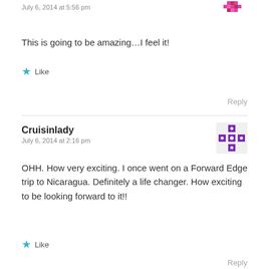July 6, 2014 at 5:56 pm
This is going to be amazing…I feel it!
Like
Reply
Cruisinlady
July 6, 2014 at 2:16 pm
OHH. How very exciting. I once went on a Forward Edge trip to Nicaragua. Definitely a life changer. How exciting to be looking forward to it!!
Like
Reply